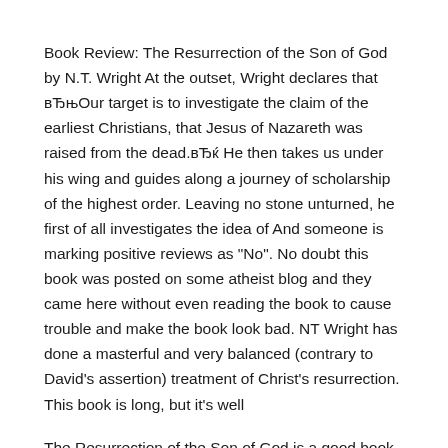Book Review: The Resurrection of the Son of God by N.T. Wright At the outset, Wright declares that вЂњOur target is to investigate the claim of the earliest Christians, that Jesus of Nazareth was raised from the dead.вЂќ He then takes us under his wing and guides along a journey of scholarship of the highest order. Leaving no stone unturned, he first of all investigates the idea of And someone is marking positive reviews as "No". No doubt this book was posted on some atheist blog and they came here without even reading the book to cause trouble and make the book look bad. NT Wright has done a masterful and very balanced (contrary to David's assertion) treatment of Christ's resurrection. This book is long, but it's well
The Resurrection of the Son of God is a good book. ItвЂ™s a very good book. It is a fine resource for theologians,